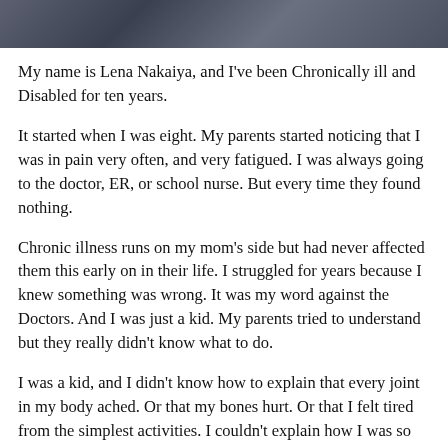[Figure (photo): Photo strip at the top of the page showing a person outdoors, cropped to show just the upper portion]
My name is Lena Nakaiya, and I've been Chronically ill and Disabled for ten years.
It started when I was eight. My parents started noticing that I was in pain very often, and very fatigued. I was always going to the doctor, ER, or school nurse. But every time they found nothing.
Chronic illness runs on my mom's side but had never affected them this early on in their life. I struggled for years because I knew something was wrong. It was my word against the Doctors. And I was just a kid. My parents tried to understand but they really didn't know what to do.
I was a kid, and I didn't know how to explain that every joint in my body ached. Or that my bones hurt. Or that I felt tired from the simplest activities. I couldn't explain how I was so flexible, yet was unable to run or do pushups. Not to mention all the other symptoms and challenges I faced and continue to face.